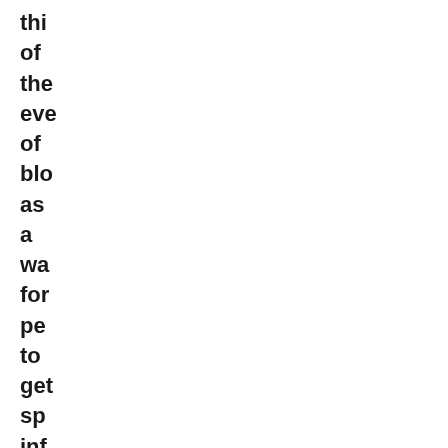thi
of
the
eve
of
blo
as
a
wa
for
pe
to
get
sp
inf
Ho
ha
blo
ch
yo
job
wo
for